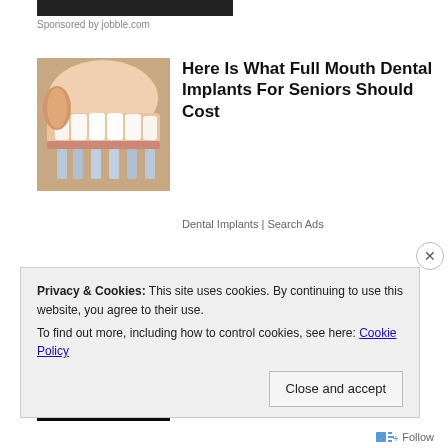[Figure (screenshot): Dark banner/ad bar at top]
Sponsored by jobble.com
[Figure (photo): Close-up photo of dental implants/teeth being fitted]
Here Is What Full Mouth Dental Implants For Seniors Should Cost
Dental Implants | Search Ads
[Figure (photo): Camp Lejeune Toxic Water Lawsuit dark promotional image with eagle emblem and yellow text]
Camp Lejeune Water Contamination Claims
TruLaw
Privacy & Cookies: This site uses cookies. By continuing to use this website, you agree to their use.
To find out more, including how to control cookies, see here: Cookie Policy
Close and accept